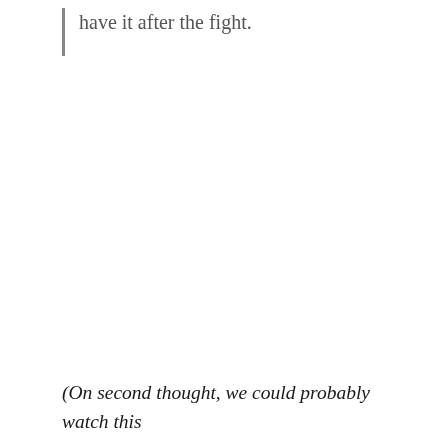have it after the fight.
(On second thought, we could probably watch this